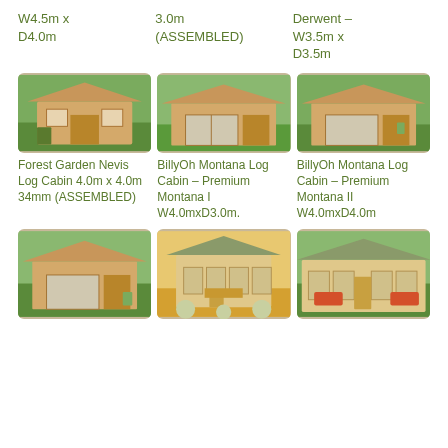W4.5m x D4.0m
3.0m (ASSEMBLED)
Derwent – W3.5m x D3.5m
[Figure (photo): Forest Garden Nevis Log Cabin exterior photo]
[Figure (photo): BillyOh Montana Log Cabin Premium Montana I exterior photo]
[Figure (photo): BillyOh Montana Log Cabin Premium Montana II exterior photo]
Forest Garden Nevis Log Cabin 4.0m x 4.0m 34mm (ASSEMBLED)
BillyOh Montana Log Cabin – Premium Montana I W4.0mxD3.0m.
BillyOh Montana Log Cabin – Premium Montana II W4.0mxD4.0m
[Figure (photo): Log cabin exterior photo bottom left]
[Figure (photo): Log cabin exterior photo bottom center]
[Figure (photo): Log cabin exterior photo bottom right]